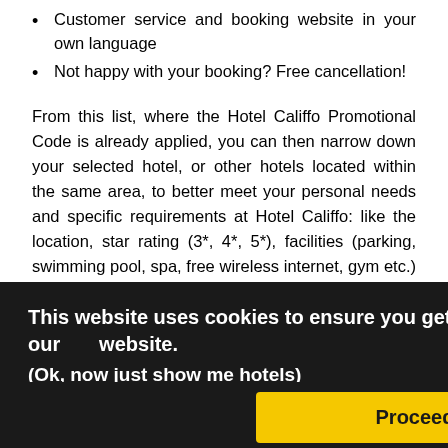Customer service and booking website in your own language
Not happy with your booking? Free cancellation!
From this list, where the Hotel Califfo Promotional Code is already applied, you can then narrow down your selected hotel, or other hotels located within the same area, to better meet your personal needs and specific requirements at Hotel Califfo: like the location, star rating (3*, 4*, 5*), facilities (parking, swimming pool, spa, free wireless internet, gym etc.) and overall reviewer score following their stay at Hotel Califfo.
This website uses cookies to ensure you get the best experience on our website. (Ok, now just show me hotels)
Proceed
Nowadays people book hotels directs, even thousands of miles away from their homes, whether you're traveling for work or to relax, you're going to have to find somewhere to